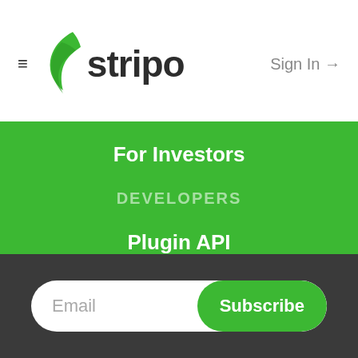≡ stripo   Sign In →
For Investors
DEVELOPERS
Plugin API
Stripo API
Report Vulnerability
Email  Subscribe